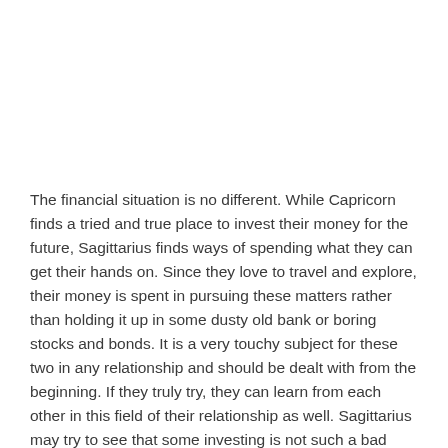The financial situation is no different. While Capricorn finds a tried and true place to invest their money for the future, Sagittarius finds ways of spending what they can get their hands on. Since they love to travel and explore, their money is spent in pursuing these matters rather than holding it up in some dusty old bank or boring stocks and bonds. It is a very touchy subject for these two in any relationship and should be dealt with from the beginning. If they truly try, they can learn from each other in this field of their relationship as well. Sagittarius may try to see that some investing is not such a bad idea and Capricorn may finally see that perhaps having a little expensive fun is healthy for the soul. Even though the Sagittarius benefits from Capricorn's tender nature and words of wisdom when